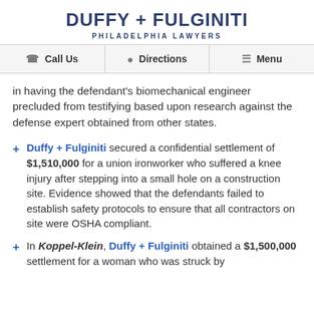DUFFY + FULGINITI
PHILADELPHIA LAWYERS
Call Us   Directions   Menu
in having the defendant's biomechanical engineer precluded from testifying based upon research against the defense expert obtained from other states.
Duffy + Fulginiti secured a confidential settlement of $1,510,000 for a union ironworker who suffered a knee injury after stepping into a small hole on a construction site. Evidence showed that the defendants failed to establish safety protocols to ensure that all contractors on site were OSHA compliant.
In Koppel-Klein, Duffy + Fulginiti obtained a $1,500,000 settlement for a woman who was struck by a car...